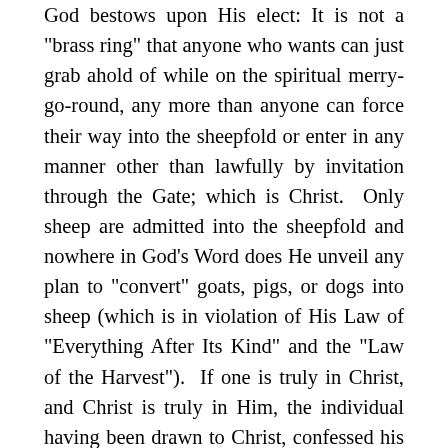God bestows upon His elect: It is not a "brass ring" that anyone who wants can just grab ahold of while on the spiritual merry-go-round, any more than anyone can force their way into the sheepfold or enter in any manner other than lawfully by invitation through the Gate; which is Christ.  Only sheep are admitted into the sheepfold and nowhere in God’s Word does He unveil any plan to "convert" goats, pigs, or dogs into sheep (which is in violation of His Law of "Everything After Its Kind" and the "Law of the Harvest").  If one is truly in Christ, and Christ is truly in Him, the individual having been drawn to Christ, confessed his sin, repented, pleaded the Blood of Christ, and submitted to Him as Lord, then he will walk in obedience to the Law of God